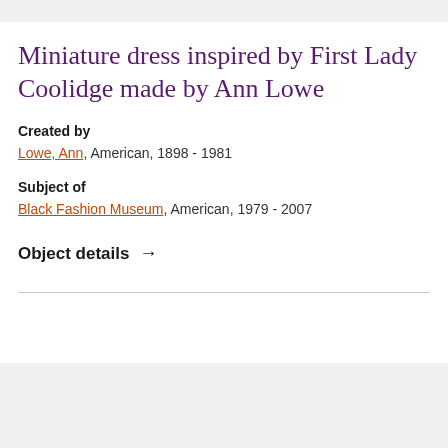Miniature dress inspired by First Lady Coolidge made by Ann Lowe
Created by
Lowe, Ann, American, 1898 - 1981
Subject of
Black Fashion Museum, American, 1979 - 2007
Object details →